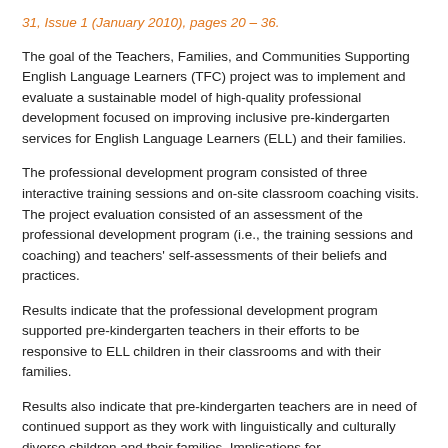31, Issue 1 (January 2010), pages 20 – 36.
The goal of the Teachers, Families, and Communities Supporting English Language Learners (TFC) project was to implement and evaluate a sustainable model of high-quality professional development focused on improving inclusive pre-kindergarten services for English Language Learners (ELL) and their families.
The professional development program consisted of three interactive training sessions and on-site classroom coaching visits. The project evaluation consisted of an assessment of the professional development program (i.e., the training sessions and coaching) and teachers' self-assessments of their beliefs and practices.
Results indicate that the professional development program supported pre-kindergarten teachers in their efforts to be responsive to ELL children in their classrooms and with their families.
Results also indicate that pre-kindergarten teachers are in need of continued support as they work with linguistically and culturally diverse children and their families. Implications for